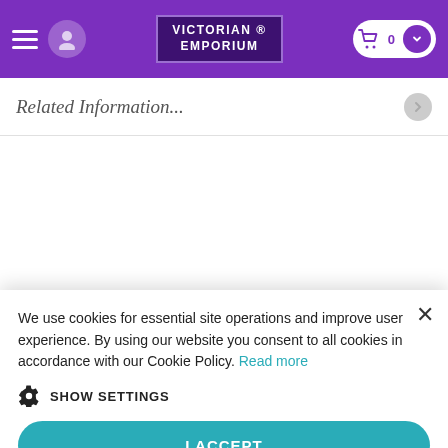VICTORIAN ® EMPORIUM
Related Information...
You may also like
We use cookies for essential site operations and improve user experience. By using our website you consent to all cookies in accordance with our Cookie Policy. Read more
SHOW SETTINGS
I ACCEPT